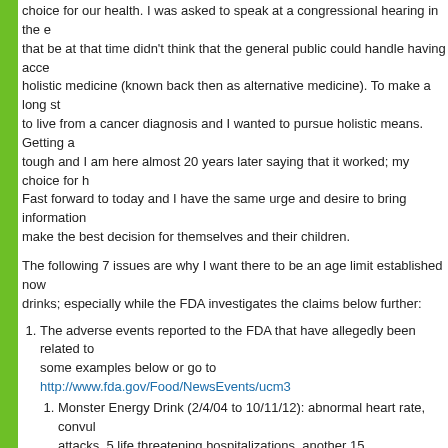choice for our health. I was asked to speak at a congressional hearing in the early 90's that be at that time didn't think that the general public could handle having access to holistic medicine (known back then as alternative medicine). To make a long story short, I lived to live from a cancer diagnosis and I wanted to pursue holistic means. Getting a 'no' was tough and I am here almost 20 years later saying that it worked; my choice for health. Fast forward to today and I have the same urge and desire to bring information so people can make the best decision for themselves and their children.
The following 7 issues are why I want there to be an age limit established now on energy drinks; especially while the FDA investigates the claims below further:
1. The adverse events reported to the FDA that have allegedly been related to energy drinks. See some examples below or go to http://www.fda.gov/Food/NewsEvents/ucm3...
1. Monster Energy Drink (2/4/04 to 10/11/12): abnormal heart rate, convulsions, heart attacks, 5 life threatening hospitalizations, another 15 hospitalizations
2. Red Bull (1/29/04 to 5/4/12): cardiac disorder, abnormal heart rate, 1 heart attack, visits to healthcare practitioner, plus 4 hospitalizations
3. 5 Hour Energy (6/22/05 to 10/22/12): convulsions, abnormal heart rate, deaths and 11 heart attacks
4. Rockstar (1/3/06 to 9/13/12): abnormal heart rate, disability from a stroke...
5. The suspicious deaths surrounding energy drinks. I personally was in touch with families whose children died after drinking anywhere from ½ can to 3 cans of energy drinks. Parents are convinced these drinks had something to do with their child's death.
1. Brian (15y): 1 free sample of RedBull; died later that day